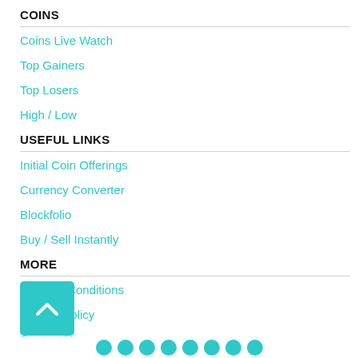COINS
Coins Live Watch
Top Gainers
Top Losers
High / Low
USEFUL LINKS
Initial Coin Offerings
Currency Converter
Blockfolio
Buy / Sell Instantly
MORE
Terms & Conditions
Privacy Policy
Contact Us
FAQs
[Figure (other): Back to top button (teal rounded square with upward chevron arrow)]
Social media icon row at bottom